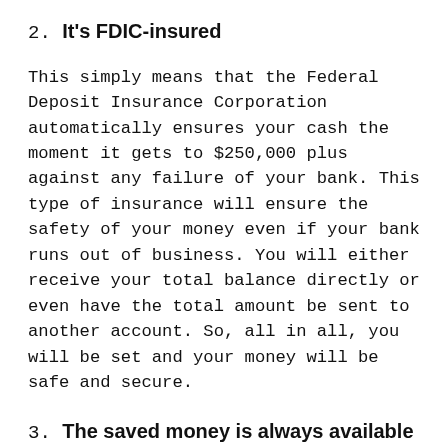2. It's FDIC-insured
This simply means that the Federal Deposit Insurance Corporation automatically ensures your cash the moment it gets to $250,000 plus against any failure of your bank. This type of insurance will ensure the safety of your money even if your bank runs out of business. You will either receive your total balance directly or even have the total amount be sent to another account. So, all in all, you will be set and your money will be safe and secure.
3. The saved money is always available
With savings and savings accounts, you always have the pleasure of enjoying access to your money any time of the day, be it day or